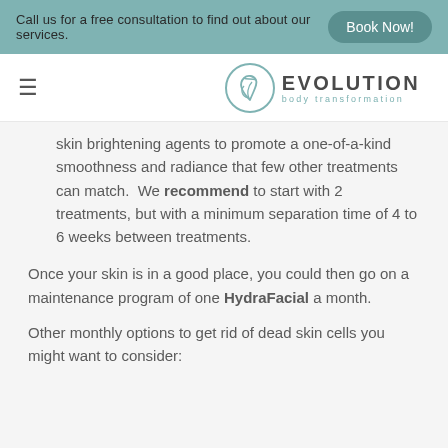Call us for a free consultation to find out about our services.  Book Now!
[Figure (logo): Evolution Body Transformation logo with leaf/drop icon]
skin brightening agents to promote a one-of-a-kind smoothness and radiance that few other treatments can match.  We recommend to start with 2 treatments, but with a minimum separation time of 4 to 6 weeks between treatments.
Once your skin is in a good place, you could then go on a maintenance program of one HydraFacial a month.
Other monthly options to get rid of dead skin cells you might want to consider: